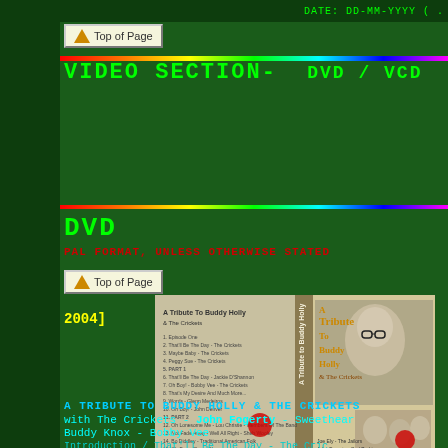DATE: DD-MM-YYYY ( .
[Figure (logo): Top of Page button with orange triangle icon]
VIDEO SECTION- DVD / VCD
[Figure (other): Rainbow gradient divider bar]
DVD
PAL FORMAT, UNLESS OTHERWISE STATED
[Figure (logo): Top of Page button with orange triangle icon]
2004]
[Figure (photo): DVD cover for A Tribute To Buddy Holly & The Crickets showing Buddy Holly and band members]
A TRIBUTE TO BUDDY HOLLY & THE CRICKETS
with The Crickets - John Fogerty - Sweethear
Buddy Knox - Bobby Vee
Introduction / That'll Be The Day - The Cric
Sue - The Crickets / Story I / Well All Righ